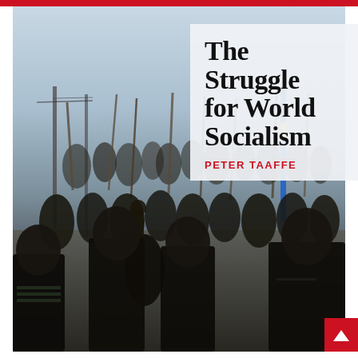[Figure (photo): Book cover for 'The Struggle for World Socialism' by Peter Taaffe. Background photo shows a large crowd of protesters marching, many carrying sticks and poles, with fists raised. Sky is light blue in the upper portion. A red horizontal bar appears at the very top of the cover. A semi-transparent white/light grey box in the upper right contains the title text in bold serif font and author name in bold red uppercase sans-serif. A small red square with a white upward arrow is in the lower right corner.]
The Struggle for World Socialism
PETER TAAFFE